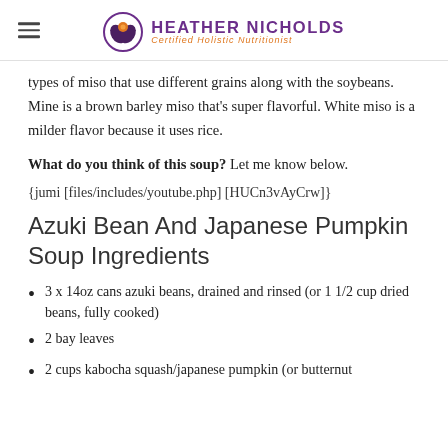HEATHER NICHOLDS — Certified Holistic Nutritionist
types of miso that use different grains along with the soybeans. Mine is a brown barley miso that's super flavorful. White miso is a milder flavor because it uses rice.
What do you think of this soup? Let me know below.
{jumi [files/includes/youtube.php] [HUCn3vAyCrw]}
Azuki Bean And Japanese Pumpkin Soup Ingredients
3 x 14oz cans azuki beans, drained and rinsed (or 1 1/2 cup dried beans, fully cooked)
2 bay leaves
2 cups kabocha squash/japanese pumpkin (or butternut